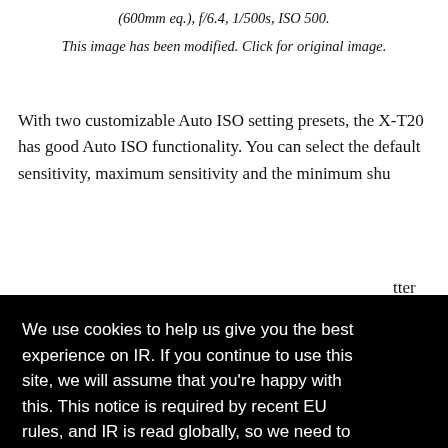(600mm eq.), f/6.4, 1/500s, ISO 500.
This image has been modified. Click for original image.
With two customizable Auto ISO setting presets, the X-T20 has good Auto ISO functionality. You can select the default sensitivity, maximum sensitivity and the minimum shutter
n Auto
e
as focal
odes
We use cookies to help us give you the best experience on IR. If you continue to use this site, we will assume that you're happy with this. This notice is required by recent EU rules, and IR is read globally, so we need to keep the bureaucrats off our case!
Learn more
Got it!